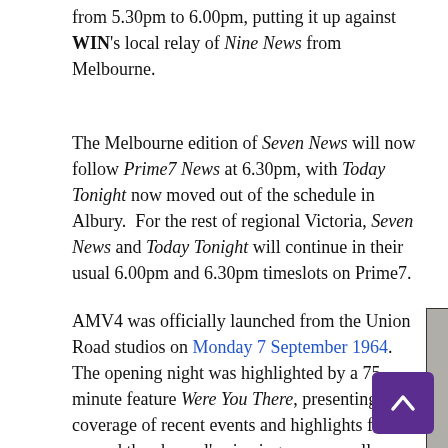from 5.30pm to 6.00pm, putting it up against WIN's local relay of Nine News from Melbourne.
The Melbourne edition of Seven News will now follow Prime7 News at 6.30pm, with Today Tonight now moved out of the schedule in Albury.  For the rest of regional Victoria, Seven News and Today Tonight will continue in their usual 6.00pm and 6.30pm timeslots on Prime7.
AMV4 was officially launched from the Union Road studios on Monday 7 September 1964.  The opening night was highlighted by a 75-minute feature Were You There, presenting coverage of recent events and highlights from around the channel's viewing area as well as performances from local artists.  Early local produc… from AMV4 included children's program Cohns Cobbe… with Olgamary Whelan, who also hosted women's …
[Figure (photo): Black and white portrait photograph of a smiling man]